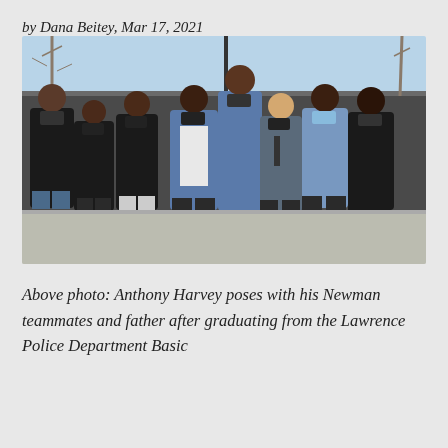by Dana Beitey, Mar 17, 2021
[Figure (photo): Group photo of Anthony Harvey posing with his Newman teammates and father after graduating from the Lawrence Police Department Basic training. Eight people standing outdoors wearing face masks, some in casual clothes and one in police uniform, in front of a parking lot area with bare winter trees and a clear sky in the background.]
Above photo: Anthony Harvey poses with his Newman teammates and father after graduating from the Lawrence Police Department Basic